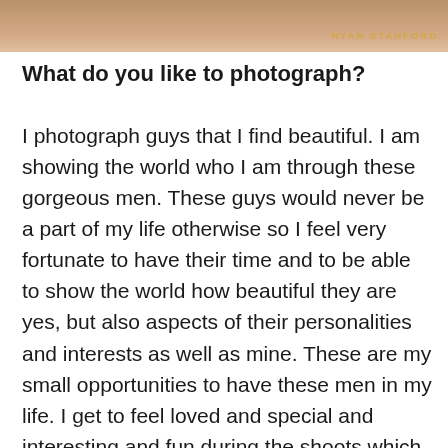[Figure (photo): Partial photograph strip at top of page showing a person, warm tones, with photographer credit overlay]
RYAN STANFORD
What do you like to photograph?
I photograph guys that I find beautiful. I am showing the world who I am through these gorgeous men. These guys would never be a part of my life otherwise so I feel very fortunate to have their time and to be able to show the world how beautiful they are yes, but also aspects of their personalities and interests as well as mine. These are my small opportunities to have these men in my life. I get to feel loved and special and interesting and fun during the shoots which is why it